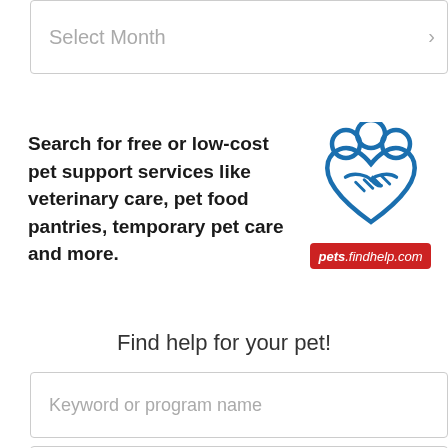[Figure (other): Dropdown select box with placeholder text 'Select Month' and a dropdown arrow on the right]
Search for free or low-cost pet support services like veterinary care, pet food pantries, temporary pet care and more.
[Figure (logo): Blue paw print with handshake heart icon and pets.findhelp.com badge in red]
Find help for your pet!
[Figure (other): Input field with placeholder 'Keyword or program name']
[Figure (other): Input field with placeholder 'Enter your ZIP code']